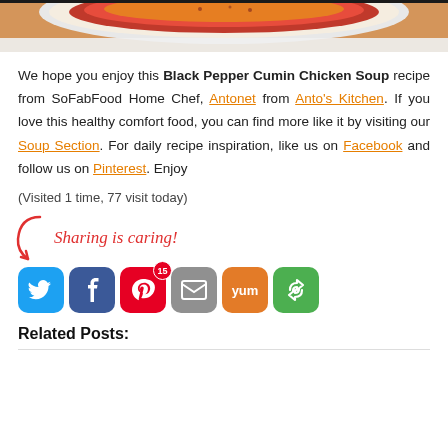[Figure (photo): Top portion of a bowl of soup, cropped photo strip at top of page]
We hope you enjoy this Black Pepper Cumin Chicken Soup recipe from SoFabFood Home Chef, Antonet from Anto's Kitchen. If you love this healthy comfort food, you can find more like it by visiting our Soup Section. For daily recipe inspiration, like us on Facebook and follow us on Pinterest. Enjoy
(Visited 1 time, 77 visit today)
[Figure (infographic): Sharing is caring! social share buttons: Twitter, Facebook (Pinterest with badge 15), Email, Yummly, More]
Related Posts: